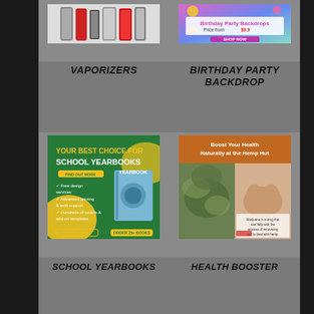[Figure (photo): Vaporizers product photo showing multiple vaping devices in white/red/black colors]
[Figure (photo): Birthday Party Backdrops advertisement with colorful background, price from $9.9, Shop Now button]
VAPORIZERS
BIRTHDAY PARTY BACKDROP
[Figure (photo): School Yearbooks advertisement on green background with yearbook illustration and text YOUR BEST CHOICE FOR SCHOOL YEARBOOKS]
[Figure (photo): Health Booster advertisement - Boost Your Health Naturally at the Hemp Hut with photos of hemp and hands]
SCHOOL YEARBOOKS
HEALTH BOOSTER